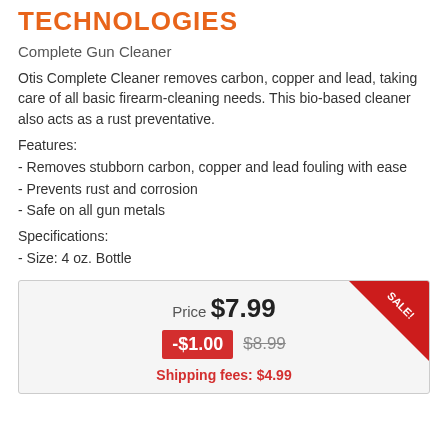TECHNOLOGIES
Complete Gun Cleaner
Otis Complete Cleaner removes carbon, copper and lead, taking care of all basic firearm-cleaning needs. This bio-based cleaner also acts as a rust preventative.
Features:
- Removes stubborn carbon, copper and lead fouling with ease
- Prevents rust and corrosion
- Safe on all gun metals
Specifications:
- Size: 4 oz. Bottle
| Price $7.99 |
| -$1.00 | $8.99 |
| Shipping fees: $4.99 |